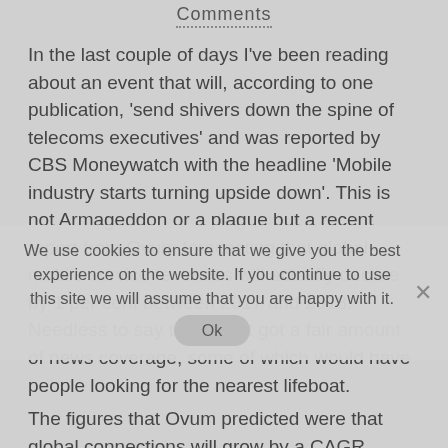Comments
In the last couple of days I've been reading about an event that will, according to one publication, 'send shivers down the spine of telecoms executives' and was reported by CBS Moneywatch with the headline 'Mobile industry starts turning upside down'. This is not Armageddon or a plague but a recent report from Ovum forecasting that global mobile service revenues will actually decline by 1 per cent between 2017 and 2018. Needless to say this report got a fair amount of news coverage, some of which would have people looking for the nearest lifeboat.
We use cookies to ensure that we give you the best experience on the website. If you continue to use this site we will assume that you are happy with it.
The figures that Ovum predicted were that global connections will grow by a CAGR (compound annual growth rate) of less than 4 per cent between 2012 and 2018 and that global revenues will grow at about